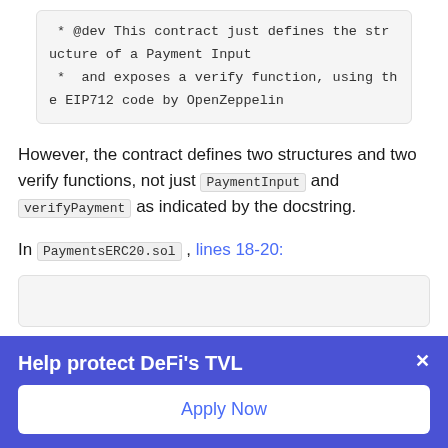* @dev This contract just defines the structure of a Payment Input
 *  and exposes a verify function, using the EIP712 code by OpenZeppelin
However, the contract defines two structures and two verify functions, not just PaymentInput and verifyPayment as indicated by the docstring.
In PaymentsERC20.sol , lines 18-20:
Help protect DeFi's TVL
Apply Now